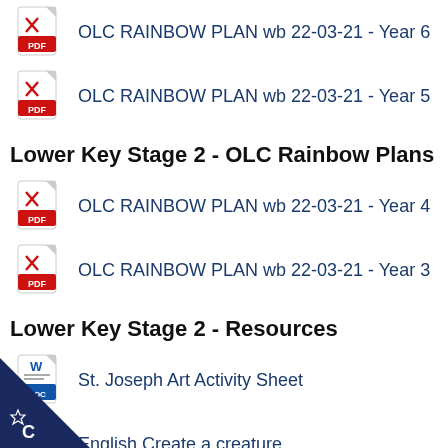OLC RAINBOW PLAN wb 22-03-21 - Year 6
OLC RAINBOW PLAN wb 22-03-21 - Year 5
Lower Key Stage 2 - OLC Rainbow Plans
OLC RAINBOW PLAN wb 22-03-21 - Year 4
OLC RAINBOW PLAN wb 22-03-21 - Year 3
Lower Key Stage 2 - Resources
St. Joseph Art Activity Sheet
English Create a creature
Handwriting Practice - Cursive Y3